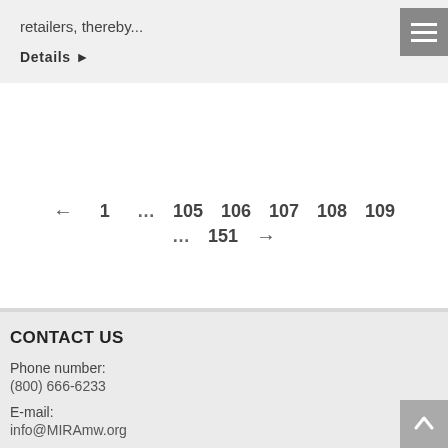retailers, thereby...
Details ▶
← 1 … 105 106 107 108 109 … 151 →
CONTACT US
Phone number:
(800) 666-6233
E-mail:
info@MIRAmw.org
Business hours: